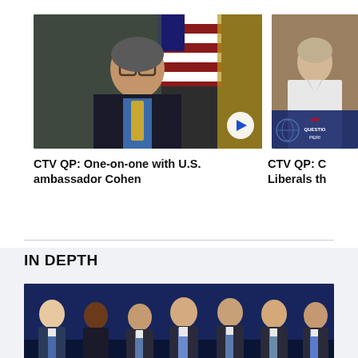[Figure (photo): Man in suit with glasses and yellow tie in front of US flag, video thumbnail with play button]
[Figure (photo): Woman in white jacket at CTV Question Period desk, video thumbnail]
CTV QP: One-on-one with U.S. ambassador Cohen
CTV QP: C Liberals th
IN DEPTH
[Figure (photo): Group of seven people in suits at a political event on a dark blue stage]